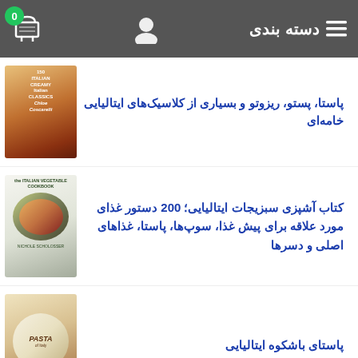دسته بندی
پاستا، پستو، ریزوتو و بسیاری از کلاسیک‌های ایتالیایی خامه‌ای
[Figure (photo): Book cover: Italian cookbook by Chloe Coscarelli]
کتاب آشپزی سبزیجات ایتالیایی؛ 200 دستور غذای مورد علاقه برای پیش غذا، سوپ‌ها، پاستا، غذاهای اصلی و دسرها
[Figure (photo): Book cover: The Italian Vegetable Cookbook]
پاستای باشکوه ایتالیایی
[Figure (photo): Book cover: Pasta of Italy]
دستورالعمل های کلاسیک ایتالیایی؛ 75
[Figure (photo): Book cover: Anna Del Conte Classic Italian Recipes]